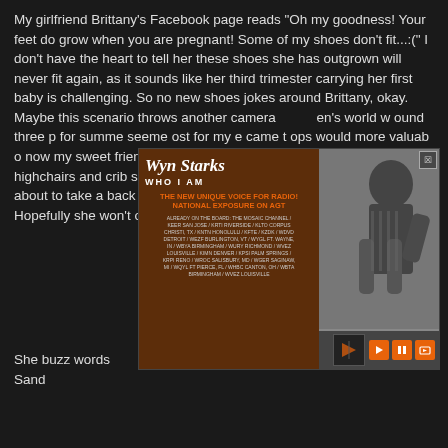My girlfriend Brittany's Facebook page reads "Oh my goodness! Your feet do grow when you are pregnant! Some of my shoes don't fit...:(" I don't have the heart to tell her these shoes she has outgrown will never fit again, as it sounds like her third trimester carrying her first baby is challenging. So no new shoes jokes around Brittany, okay. Maybe this scenario throws another camera into a women's world where I found three p... for summe... seeme... ost for my e came t... ops would ... more valuab... o now my sweet friend Brittany is about to learn the joys of purchasing highchairs and crib sheets and her shoes amongst other items are about to take a back seat to her soon to be new life as a mom. Hopefully she won't out grown all her high heels.
[Figure (advertisement): Ad overlay for Wyn Starks 'Who I Am' - The New Unique Voice for Radio! National Exposure on AGT. Lists radio stations. Shows photo of artist. Has media controls.]
She buzz words
Sand